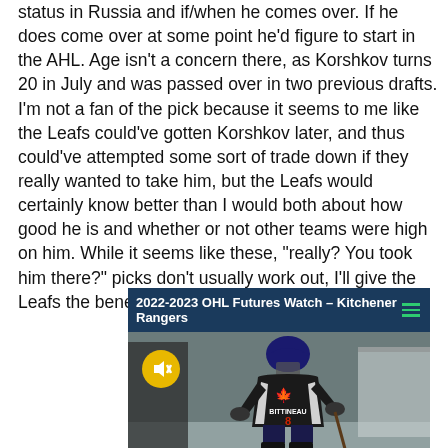status in Russia and if/when he comes over. If he does come over at some point he'd figure to start in the AHL. Age isn't a concern there, as Korshkov turns 20 in July and was passed over in two previous drafts.
I'm not a fan of the pick because it seems to me like the Leafs could've gotten Korshkov later, and thus could've attempted some sort of trade down if they really wanted to take him, but the Leafs would certainly know better than I would both about how good he is and whether or not other teams were high on him. While it seems like these, "really? You took him there?" picks don't usually work out, I'll give the Leafs the benefit of the doubt.
[Figure (screenshot): Video thumbnail showing '2022-2023 OHL Futures Watch – Kitchener Rangers' with a hockey player wearing jersey number 8 with BITTINEAU on the back, on an ice rink.]